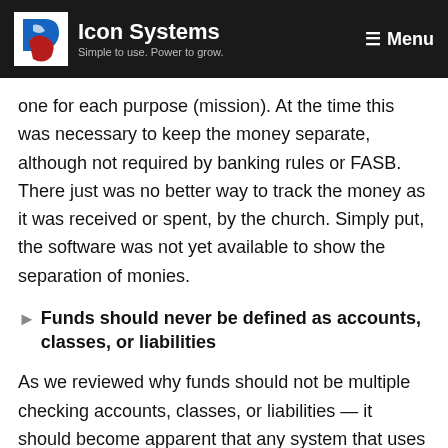Icon Systems — Simple to use. Power to grow. Menu
one for each purpose (mission). At the time this was necessary to keep the money separate, although not required by banking rules or FASB. There just was no better way to track the money as it was received or spent, by the church. Simply put, the software was not yet available to show the separation of monies.
Funds should never be defined as accounts, classes, or liabilities
As we reviewed why funds should not be multiple checking accounts, classes, or liabilities — it should become apparent that any system that uses these types of workarounds is simply